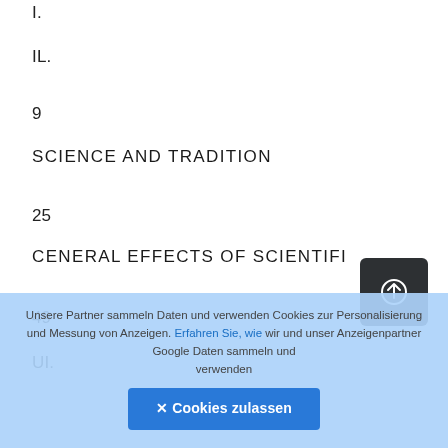I.
IL.
9
SCIENCE AND TRADITION
25
CENERAL EFFECTS OF SCIENTIFIC TECHNIQU…
49
UI.
Unsere Partner sammeln Daten und verwenden Cookies zur Personalisierung und Messung von Anzeigen. Erfahren Sie, wie wir und unser Anzeigenpartner Google Daten sammeln und verwenden